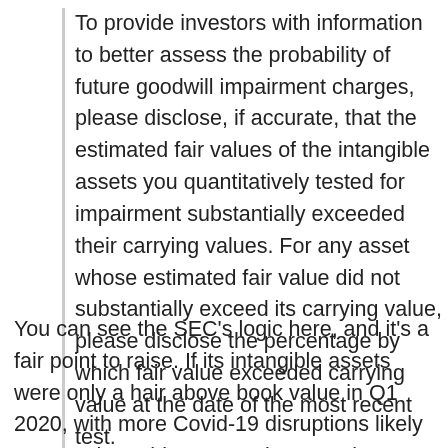To provide investors with information to better assess the probability of future goodwill impairment charges, please disclose, if accurate, that the estimated fair values of the intangible assets you quantitatively tested for impairment substantially exceeded their carrying values. For any asset whose estimated fair value did not substantially exceed its carrying value, please disclose the percentage by which fair value exceeded carrying value at the date of the most recent test.
You can see the SEC's logic here, and it's a fair point to raise. If its intangible assets were only a hair above book value in Q1 2020, with more Covid-19 disruptions likely to come later this year — then yes, it's possible that an impairment charge will be necessary sometime